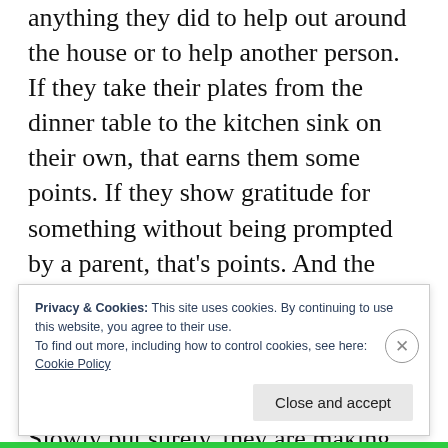anything they did to help out around the house or to help another person. If they take their plates from the dinner table to the kitchen sink on their own, that earns them some points. If they show gratitude for something without being prompted by a parent, that's points. And the truth is, it has been working. With gentle daily reminders, they are on the lookout for opportunities to earn points by being kind and unselfish. Slowly but surely, they are making unselfish thinking a habit.
Privacy & Cookies: This site uses cookies. By continuing to use this website, you agree to their use.
To find out more, including how to control cookies, see here:
Cookie Policy
Close and accept